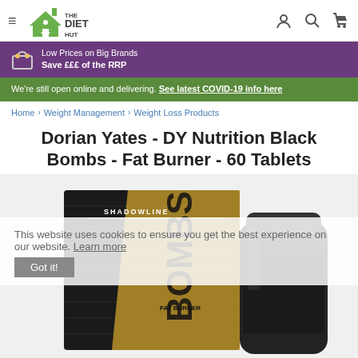The Diet Hut — navigation header with hamburger menu, logo, user/search/cart icons
Low Prices on Big Brands
Save £££ of the RRP
We're still open online and delivering. See latest COVID-19 info here
Home > Weight Management > Weight Loss Products
Dorian Yates - DY Nutrition Black Bombs - Fat Burner - 60 Tablets
[Figure (photo): Product photo showing DY Nutrition Black Bombs fat burner — a dark box labeled SHADOWLINE and a black supplement bottle labeled BOMBS FAT BURNER]
This website uses cookies to ensure you get the best experience on our website. Learn more